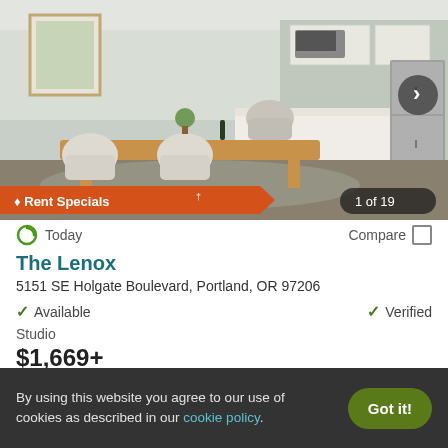[Figure (photo): Interior photo of a modern apartment dining area with wooden table, white chairs, and kitchen in the background. Shows 'Rent Specials' badge and '1 of 19' image counter.]
Today
Compare
The Lenox
5151 SE Holgate Boulevard, Portland, OR 97206
Available
Verified
Studio
$1,669+
View Details
Contact Property
By using this website you agree to our use of cookies as described in our cookie policy.
Got it!